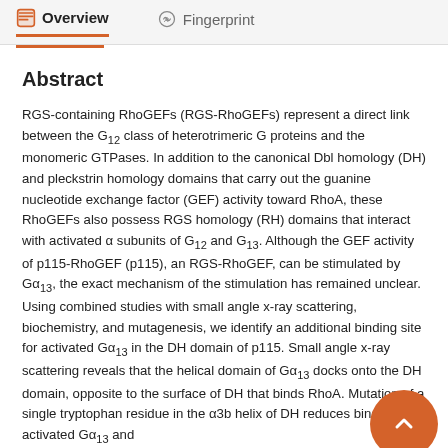Overview   Fingerprint
Abstract
RGS-containing RhoGEFs (RGS-RhoGEFs) represent a direct link between the G12 class of heterotrimeric G proteins and the monomeric GTPases. In addition to the canonical Dbl homology (DH) and pleckstrin homology domains that carry out the guanine nucleotide exchange factor (GEF) activity toward RhoA, these RhoGEFs also possess RGS homology (RH) domains that interact with activated α subunits of G12 and G13. Although the GEF activity of p115-RhoGEF (p115), an RGS-RhoGEF, can be stimulated by Gα13, the exact mechanism of the stimulation has remained unclear. Using combined studies with small angle x-ray scattering, biochemistry, and mutagenesis, we identify an additional binding site for activated Gα13 in the DH domain of p115. Small angle x-ray scattering reveals that the helical domain of Gα13 docks onto the DH domain, opposite to the surface of DH that binds RhoA. Mutation of a single tryptophan residue in the α3b helix of DH reduces binding to activated Gα13 and